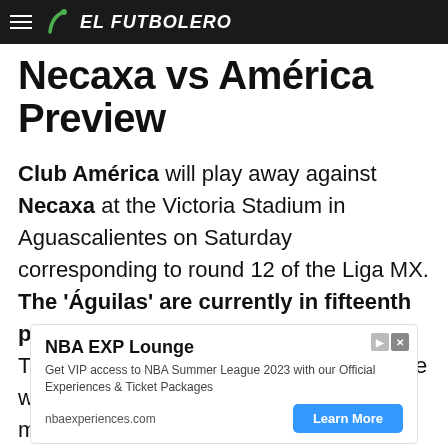EL FUTBOLERO
Necaxa vs América Preview
Club América will play away against Necaxa at the Victoria Stadium in Aguascalientes on Saturday corresponding to round 12 of the Liga MX. The 'Águilas' are currently in fifteenth place in the standings with 10 points. The capital team is coming off a 3-0 home win against Toluca in their last Liga MX match.
MEXICO - LIGA MX
[Figure (other): Advertisement for NBA EXP Lounge: Get VIP access to NBA Summer League 2023 with our Official Experiences & Ticket Packages. nbaexperiences.com. Learn More button.]